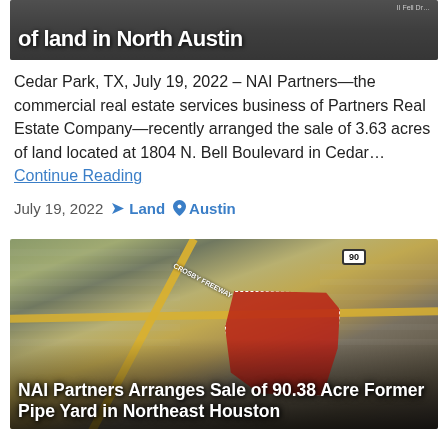[Figure (photo): Aerial or satellite photo of land in North Austin with large white bold title text overlay at bottom]
Cedar Park, TX, July 19, 2022 – NAI Partners—the commercial real estate services business of Partners Real Estate Company—recently arranged the sale of 3.63 acres of land located at 1804 N. Bell Boulevard in Cedar… Continue Reading
July 19, 2022   Land   Austin
[Figure (photo): Aerial satellite view of 90.38 acre former pipe yard in Northeast Houston, with red highlighted parcel boundary and title overlay: NAI Partners Arranges Sale of 90.38 Acre Former Pipe Yard in Northeast Houston]